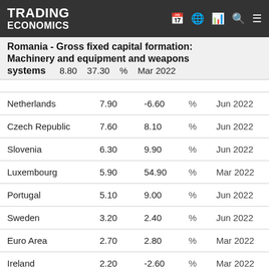TRADING ECONOMICS
Romania - Gross fixed capital formation: Machinery and equipment and weapons systems
| Country | Value | Previous | Unit | Date |
| --- | --- | --- | --- | --- |
| systems (Romania) | 8.80 | 37.30 | % | Mar 2022 |
| Netherlands | 7.90 | -6.60 | % | Jun 2022 |
| Czech Republic | 7.60 | 8.10 | % | Jun 2022 |
| Slovenia | 6.30 | 9.90 | % | Jun 2022 |
| Luxembourg | 5.90 | 54.90 | % | Mar 2022 |
| Portugal | 5.10 | 9.00 | % | Jun 2022 |
| Sweden | 3.20 | 2.40 | % | Jun 2022 |
| Euro Area | 2.70 | 2.80 | % | Mar 2022 |
| Ireland | 2.20 | -2.60 | % | Mar 2022 |
| Germany | 0.50 | -0.30 | % | Jun 2022 |